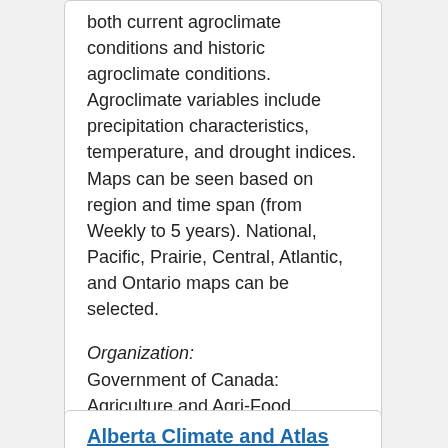both current agroclimate conditions and historic agroclimate conditions. Agroclimate variables include precipitation characteristics, temperature, and drought indices. Maps can be seen based on region and time span (from Weekly to 5 years). National, Pacific, Prairie, Central, Atlantic, and Ontario maps can be selected.
Organization:
Government of Canada: Agriculture and Agri-Food Canada
Resource formats:
Mapped
Report Broken Link
Alberta Climate and Atlas Maps
Alberta Climate and Atlas Maps contains gridded and mapped displays of historically